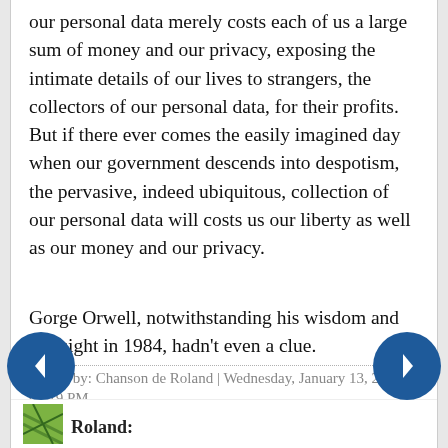our personal data merely costs each of us a large sum of money and our privacy, exposing the intimate details of our lives to strangers, the collectors of our personal data, for their profits. But if there ever comes the easily imagined day when our government descends into despotism, the pervasive, indeed ubiquitous, collection of our personal data will costs us our liberty as well as our money and our privacy.
Gorge Orwell, notwithstanding his wisdom and foresight in 1984, hadn't even a clue.
Posted by: Chanson de Roland | Wednesday, January 13, 2016 at 01:19 PM
Roland: